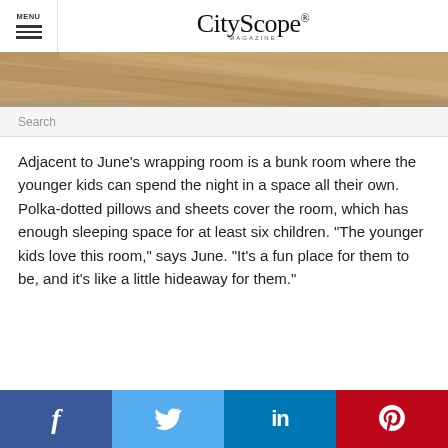MENU — CityScope Magazine
[Figure (photo): Decorative wood grain / herringbone pattern image strip]
Search
Adjacent to June’s wrapping room is a bunk room where the younger kids can spend the night in a space all their own. Polka-dotted pillows and sheets cover the room, which has enough sleeping space for at least six children. “The younger kids love this room,” says June. “It’s a fun place for them to be, and it’s like a little hideaway for them.”
Facebook Twitter LinkedIn Pinterest social share buttons